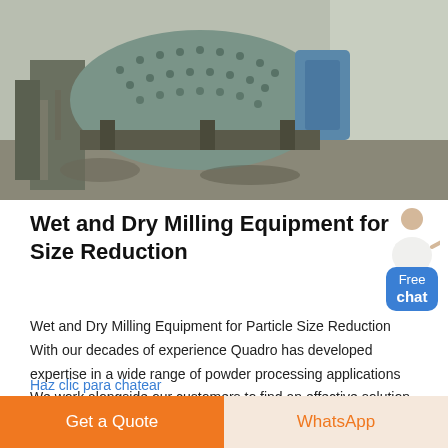[Figure (photo): Industrial wet and dry milling equipment / ball mill machinery photographed outdoors]
Wet and Dry Milling Equipment for Size Reduction
Wet and Dry Milling Equipment for Particle Size Reduction With our decades of experience Quadro has developed expertise in a wide range of powder processing applications We work alongside our customers to find an effective solution that suits their specific application needs.
Haz clic para chatear
Get a Quote
WhatsApp